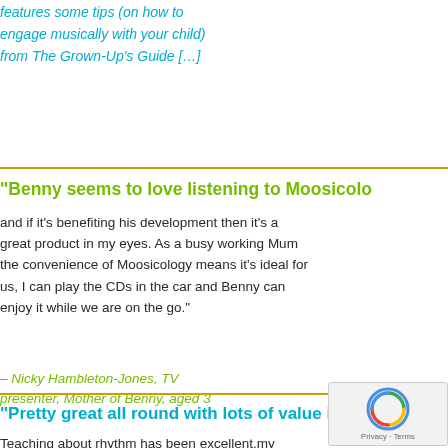features some tips (on how to engage musically with your child) from The Grown-Up's Guide […]
"Benny seems to love listening to Moosicolo…
and if it's benefiting his development then it's a great product in my eyes. As a busy working Mum the convenience of Moosicology means it's ideal for us, I can play the CDs in the car and Benny can enjoy it while we are on the go."
– Nicky Hambleton-Jones, TV presenter, Mother of Benny, aged 3
"Pretty great all round with lots of value in it…
Teaching about rhythm has been excellent,my daughter is now clapping to beats in all music as a result of Moosicology and as she finds the right rhythm she's delighted with herself. The